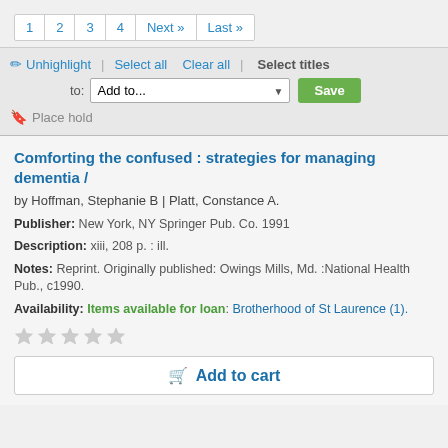1  2  3  4  Next »  Last »
✏ Unhighlight | Select all  Clear all | Select titles
to: Add to...  Save
🔖 Place hold
Comforting the confused : strategies for managing dementia /
by Hoffman, Stephanie B | Platt, Constance A.
Publisher: New York, NY Springer Pub. Co. 1991
Description: xiii, 208 p. : ill.
Notes: Reprint. Originally published: Owings Mills, Md. :National Health Pub., c1990.
Availability: Items available for loan: Brotherhood of St Laurence (1).
★ ★ ★ ★ ★
🛒 Add to cart